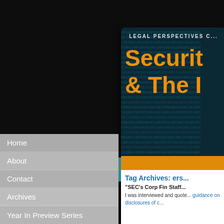[Figure (screenshot): Website screenshot of Foley Hoag LLP legal blog. Left sidebar shows 'PUBLISHED BY FOLEY HOAG LLP' with globe logo. Navigation links: Home, About, Contact, Archives, Year In Preview Series. Right panel shows dark banner with teal binary-code background, text 'LEGAL PERSPECTIVES C...' and orange large text 'Securit... & The...' followed by white content area with heading 'Tag Archives: ers...' and article title '"SEC's Corp Fin Staff...' with body text 'I was interviewed and quote... guidance on disclosures of c...']